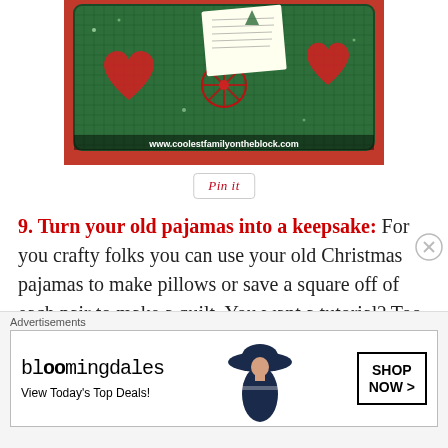[Figure (photo): Photo of a Christmas-themed pillow with green fabric featuring red hearts, snowflakes, and glitter patterns, placed on red satin fabric. A handwritten note/card is tucked into the pillow. URL watermark at bottom: www.coolestfamilyontheblock.com]
[Figure (other): Pin it button — red italic text inside a rounded rectangle border]
9. Turn your old pajamas into a keepsake: For you crafty folks you can use your old Christmas pajamas to make pillows or save a square off of each pair to make a quilt. You want a tutorial? Too bad. I said you crafty folks… I don't happen to be one of them. I just bring the ideas
[Figure (other): Bloomingdale's advertisement banner. Text: 'Advertisements', bloomingdales logo, 'View Today's Top Deals!', photo of woman in wide-brim hat, 'SHOP NOW >' button]